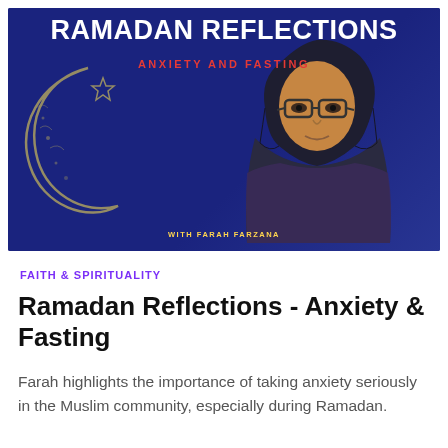[Figure (photo): Thumbnail image with dark blue background showing a woman wearing a hijab and glasses, with a crescent moon and star illustration on the left. Text overlay reads 'RAMADAN REFLECTIONS' in white bold letters, 'ANXIETY AND FASTING' in red, and 'WITH FARAH FARZANA' in gold at the bottom.]
FAITH & SPIRITUALITY
Ramadan Reflections - Anxiety & Fasting
Farah highlights the importance of taking anxiety seriously in the Muslim community, especially during Ramadan.